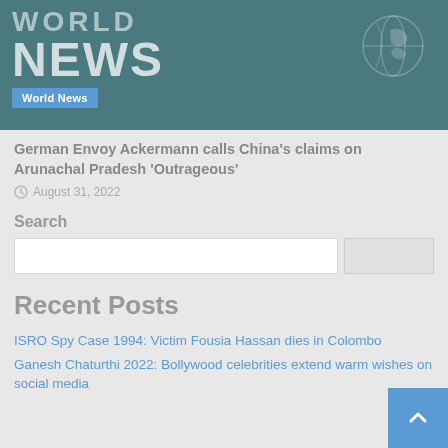[Figure (illustration): World News banner with teal background, large white text 'WORLD NEWS', globe graphic, and a blue 'World News' badge label at bottom left.]
German Envoy Ackermann calls China’s claims on Arunachal Pradesh ‘Outrageous’
August 31, 2022
Search
Recent Posts
ISRO Spy Case 1994: Victim Fousia Hassan dies in Colombo
Ganesh Chaturthi 2022: Bollywood celebrities extend warm wishes on social media